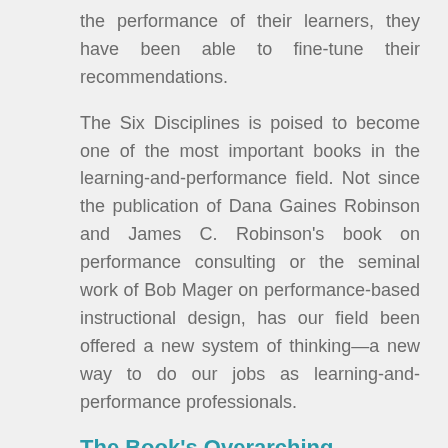the performance of their learners, they have been able to fine-tune their recommendations.
The Six Disciplines is poised to become one of the most important books in the learning-and-performance field. Not since the publication of Dana Gaines Robinson and James C. Robinson's book on performance consulting or the seminal work of Bob Mager on performance-based instructional design, has our field been offered a new system of thinking—a new way to do our jobs as learning-and-performance professionals.
The Book's Overarching Message